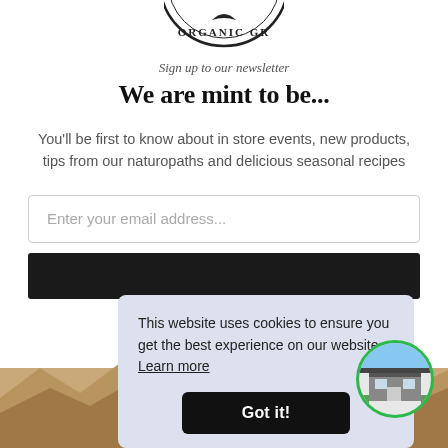[Figure (logo): Partial circular logo with text 'ORGANIC GR...' visible, stamp/badge style]
Sign up to our newsletter
We are mint to be...
You'll be first to know about in store events, new products, tips from our naturopaths and delicious seasonal recipes
Enter your email address...
This website uses cookies to ensure you get the best experience on our website.  Learn more
Got it!
[Figure (photo): Circular green-bordered photo of a store building exterior]
Your Organic Grocer